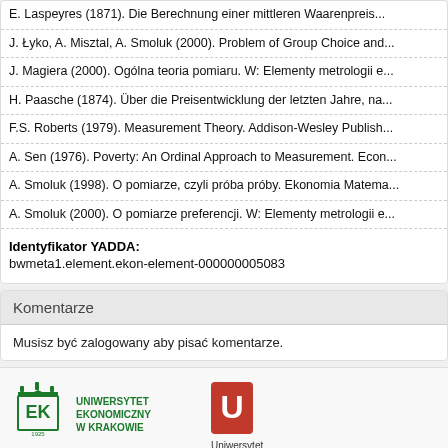E. Laspeyres (1871). Die Berechnung einer mittleren Waarenpreis...
J. Łyko, A. Misztal, A. Smoluk (2000). Problem of Group Choice and...
J. Magiera (2000). Ogólna teoria pomiaru. W: Elementy metrologii e...
H. Paasche (1874). Über die Preisentwicklung der letzten Jahre, na...
F.S. Roberts (1979). Measurement Theory. Addison-Wesley Publish...
A. Sen (1976). Poverty: An Ordinal Approach to Measurement. Econ...
A. Smoluk (1998). O pomiarze, czyli próba próby. Ekonomia Matema...
A. Smoluk (2000). O pomiarze preferencji. W: Elementy metrologii e...
Identyfikator YADDA:
bwmeta1.element.ekon-element-000000005083
Komentarze
Musisz być zalogowany aby pisać komentarze.
[Figure (logo): Uniwersytet Ekonomiczny w Krakowie logo with crown and shield emblem, green text]